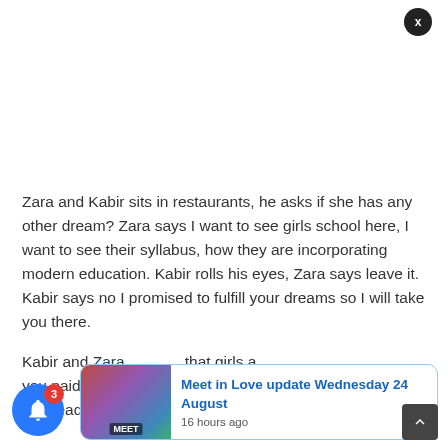[Figure (other): Advertisement or blank area at top of page]
Zara and Kabir sits in restaurants, he asks if she has any other dream? Zara says I want to see girls school here, I want to see their syllabus, how they are incorporating modern education. Kabir rolls his eyes, Zara says leave it. Kabir says no I promised to fulfill your dreams so I will take you there.
Kabir and Zara that girls a you paid visit, she gets a call and leaves. Kabir says am heading 58 schools and you are only heading 12
[Figure (screenshot): Popup notification card showing 'Meet in Love update Wednesday 24 August' with thumbnail image and '16 hours ago' timestamp]
[Figure (other): Blue notification bell button with red badge showing '3']
[Figure (other): Dark circular close button with X]
[Figure (other): Scroll to top arrow button]